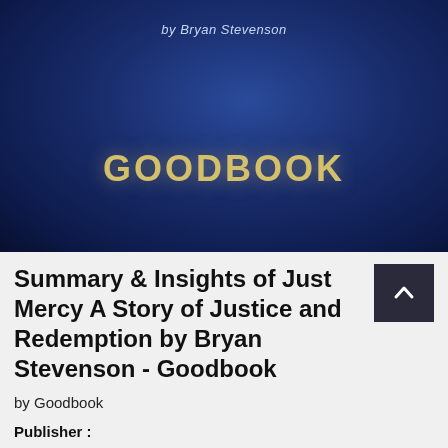[Figure (illustration): Book cover with dark blue gradient background. Text 'by Bryan Stevenson' at the top in light blue italic text. 'GOODBOOK' in bold golden/yellow letters centered lower on the cover.]
Summary & Insights of Just Mercy A Story of Justice and Redemption by Bryan Stevenson - Goodbook
by Goodbook
Publisher :